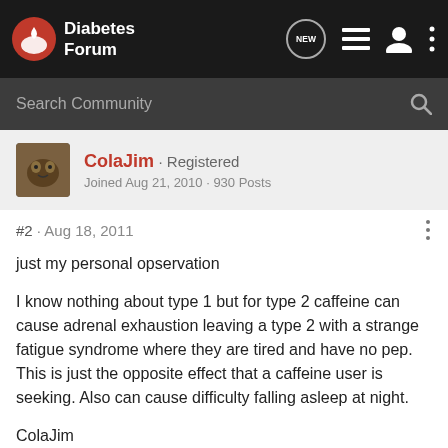Diabetes Forum
Search Community
ColaJim · Registered
Joined Aug 21, 2010 · 930 Posts
#2 · Aug 18, 2011
just my personal opservation
I know nothing about type 1 but for type 2 caffeine can cause adrenal exhaustion leaving a type 2 with a strange fatigue syndrome where they are tired and have no pep. This is just the opposite effect that a caffeine user is seeking. Also can cause difficulty falling asleep at night.
ColaJim